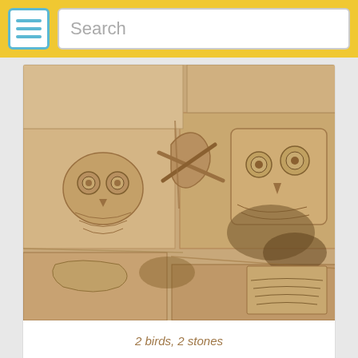Search
[Figure (photo): Close-up photograph of ancient stone wall carvings showing two owl-like bird figures carved in relief on limestone or sandstone blocks, with weathered and eroded surface texture.]
2 birds, 2 stones
[Figure (photo): Photograph of a cloudy sky with some trees or landscape visible at the bottom edge, partially cropped.]